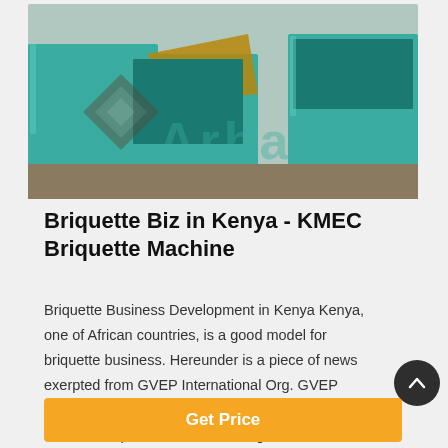[Figure (photo): Green briquette machines (industrial equipment) with a watermark overlay showing 'Arba' logo in teal/grey tones]
Briquette Biz in Kenya - KMEC Briquette Machine
Briquette Business Development in Kenya Kenya, one of African countries, is a good model for briquette business. Hereunder is a piece of news exerpted from GVEP International Org. GVEP sponsored a group of briquettes and improved cookstoves producers in attending a series of trade fairs held in Kenya in September and October, 2013, in order to push their products on
Get Price